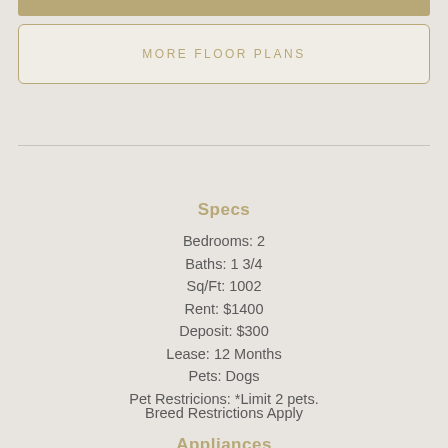MORE FLOOR PLANS
Specs
Bedrooms: 2
Baths: 1 3/4
Sq/Ft: 1002
Rent: $1400
Deposit: $300
Lease: 12 Months
Pets: Dogs
Pet Restricions: *Limit 2 pets. Breed Restrictions Apply
Appliances